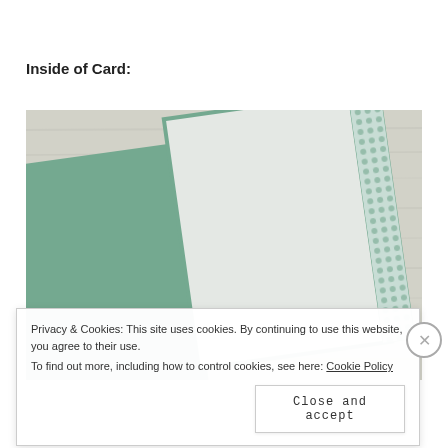Inside of Card:
[Figure (photo): Inside of a teal/green folded greeting card open on a light wood surface, showing the left panel in solid teal, the right white interior panel with a teal border, and a decorative teal polka-dot/diamond strip on the right edge.]
Privacy & Cookies: This site uses cookies. By continuing to use this website, you agree to their use.
To find out more, including how to control cookies, see here: Cookie Policy
Close and accept